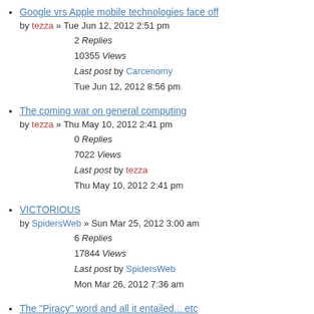Google vrs Apple mobile technologies face off
by tezza » Tue Jun 12, 2012 2:51 pm
2 Replies
10355 Views
Last post by Carcenomy
Tue Jun 12, 2012 8:56 pm
The coming war on general computing
by tezza » Thu May 10, 2012 2:41 pm
0 Replies
7022 Views
Last post by tezza
Thu May 10, 2012 2:41 pm
VICTORIOUS
by SpidersWeb » Sun Mar 25, 2012 3:00 am
6 Replies
17844 Views
Last post by SpidersWeb
Mon Mar 26, 2012 7:36 am
The "Piracy" word and all it entailed... etc
1, 2 by Harvey » Sun Mar 18, 2012 4:49 pm
15 Replies
33837 Views
Last post by coogie
Sat Mar 31, 2012 11:32 am
Just because it's not old